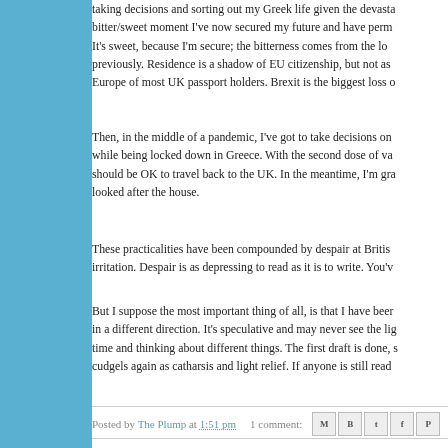taking decisions and sorting out my Greek life given the devasta... bitter/sweet moment I've now secured my future and have perm... It's sweet, because I'm secure; the bitterness comes from the lo... previously. Residence is a shadow of EU citizenship, but not as... Europe of most UK passport holders. Brexit is the biggest loss o...
Then, in the middle of a pandemic, I've got to take decisions on... while being locked down in Greece. With the second dose of va... should be OK to travel back to the UK. In the meantime, I'm gra... looked after the house.
These practicalities have been compounded by despair at Britis... irritation. Despair is as depressing to read as it is to write. You'v...
But I suppose the most important thing of all, is that I have been... in a different direction. It's speculative and may never see the li... time and thinking about different things. The first draft is done, s... cudgels again as catharsis and light relief. If anyone is still read...
Posted by The Plump at 1:51 pm    1 comment:
SATURDAY, JANUARY 16, 2021